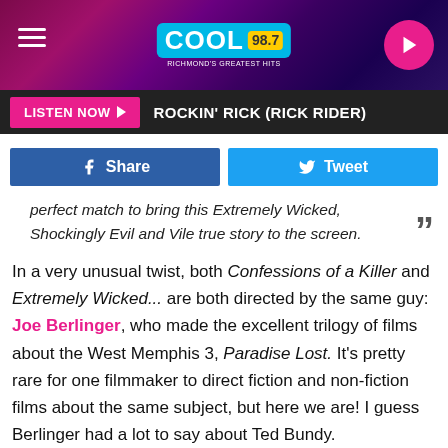[Figure (screenshot): Cool 98.7 radio station header banner with purple/magenta gradient background, hamburger menu icon on left, Cool 98.7 logo in center, play button on right]
LISTEN NOW ▶  ROCKIN' RICK (RICK RIDER)
[Figure (screenshot): Social sharing buttons: Facebook Share button (dark blue) and Tweet button (light blue)]
perfect match to bring this Extremely Wicked, Shockingly Evil and Vile true story to the screen.
In a very unusual twist, both Confessions of a Killer and Extremely Wicked... are both directed by the same guy: Joe Berlinger, who made the excellent trilogy of films about the West Memphis 3, Paradise Lost. It's pretty rare for one filmmaker to direct fiction and non-fiction films about the same subject, but here we are! I guess Berlinger had a lot to say about Ted Bundy.
Extremely Wicked, Shockingly Evil, and Vile debuts at the